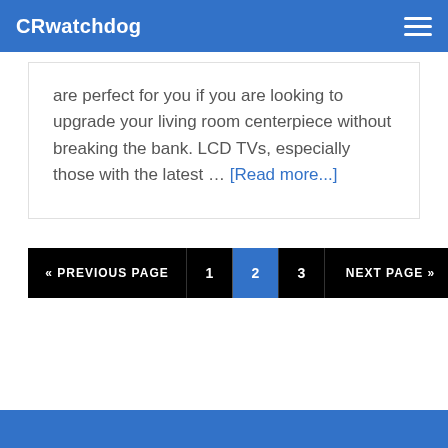CRwatchdog
are perfect for you if you are looking to upgrade your living room centerpiece without breaking the bank. LCD TVs, especially those with the latest … [Read more...]
« PREVIOUS PAGE  1  2  3  NEXT PAGE »